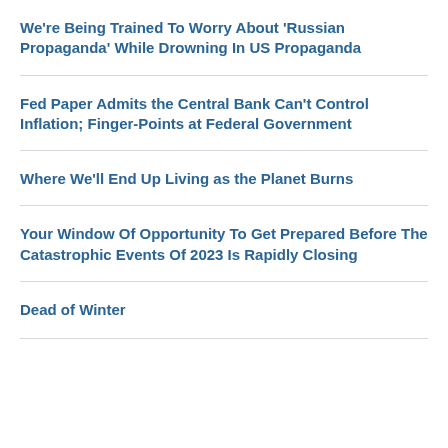We're Being Trained To Worry About 'Russian Propaganda' While Drowning In US Propaganda
Fed Paper Admits the Central Bank Can't Control Inflation; Finger-Points at Federal Government
Where We'll End Up Living as the Planet Burns
Your Window Of Opportunity To Get Prepared Before The Catastrophic Events Of 2023 Is Rapidly Closing
Dead of Winter